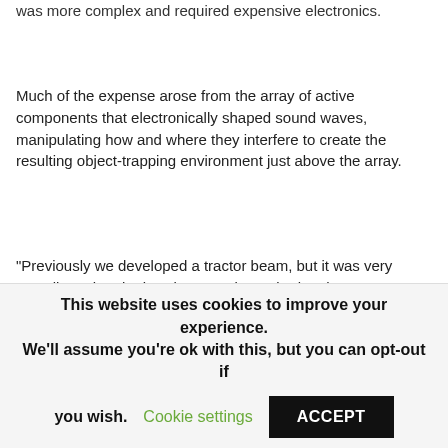was more complex and required expensive electronics.
Much of the expense arose from the array of active components that electronically shaped sound waves, manipulating how and where they interfere to create the resulting object-trapping environment just above the array.
“Previously we developed a tractor beam, but it was very complicated and pricey because it required a phase array, which is a complex electronic system,” Marzo said. “In this paper, we made a simple, static tractor beam that only requires a static piece of matter.”
This website uses cookies to improve your experience. We’ll assume you’re ok with this, but you can opt-out if you wish. Cookie settings ACCEPT